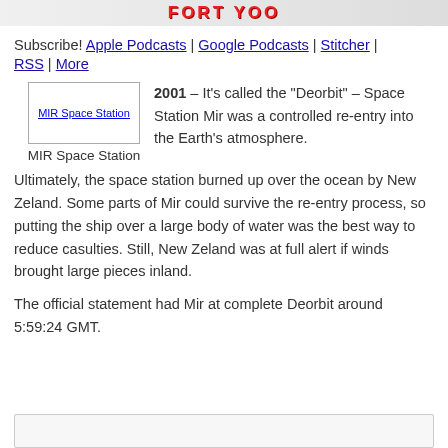[Figure (other): Banner/logo image with colorful text]
Subscribe! Apple Podcasts | Google Podcasts | Stitcher | RSS | More
[Figure (photo): MIR Space Station image placeholder]
MIR Space Station
2001 – It's called the “Deorbit” – Space Station Mir was a controlled re-entry into the Earth's atmosphere. Ultimately, the space station burned up over the ocean by New Zeland. Some parts of Mir could survive the re-entry process, so putting the ship over a large body of water was the best way to reduce casulties. Still, New Zeland was at full alert if winds brought large pieces inland.
The official statement had Mir at complete Deorbit around 5:59:24 GMT.